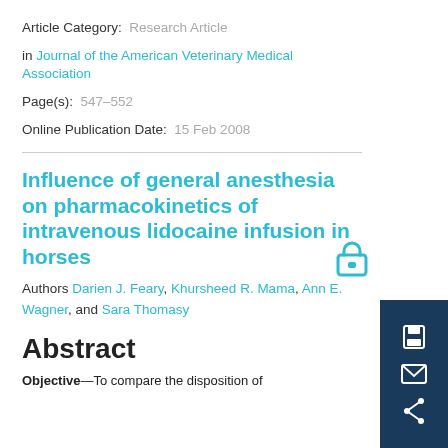Article Category: Research Article
in Journal of the American Veterinary Medical Association
Page(s): 547–552
Online Publication Date: 15 Feb 2008
Influence of general anesthesia on pharmacokinetics of intravenous lidocaine infusion in horses
Authors Darien J. Feary, Khursheed R. Mama, Ann E. Wagner, and Sara Thomasy
Abstract
Objective—To compare the disposition of